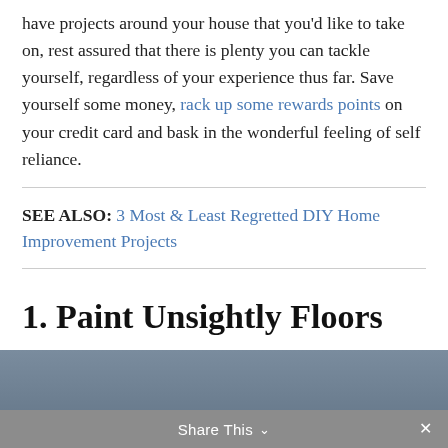have projects around your house that you'd like to take on, rest assured that there is plenty you can tackle yourself, regardless of your experience thus far. Save yourself some money, rack up some rewards points on your credit card and bask in the wonderful feeling of self reliance.
SEE ALSO: 3 Most & Least Regretted DIY Home Improvement Projects
1. Paint Unsightly Floors
[Figure (photo): Partial photo of a person at the bottom of the page, partially cropped]
Share This